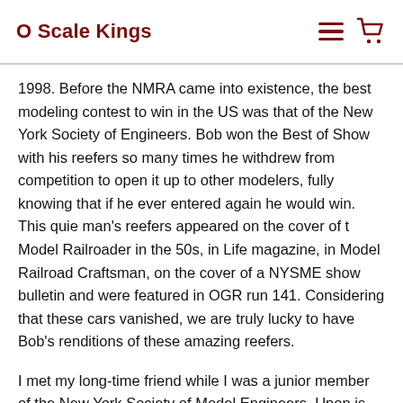O Scale Kings
1998. Before the NMRA came into existence, the best modeling contest to win in the US was that of the New York Society of Engineers. Bob won the Best of Show with his reefers so many times he withdrew from competition to open it up to other modelers, fully knowing that if he ever entered again he would win. This quie man’s reefers appeared on the cover of t Model Railroader in the 50s, in Life magazine, in Model Railroad Craftsman, on the cover of a NYSME show bulletin and were featured in OGR run 141. Considering that these cars vanished, we are truly lucky to have Bob’s renditions of these amazing reefers.
I met my long-time friend while I was a junior member of the New York Society of Model Engineers. Upon is death, his collection of Billboard Reefers, and the vast information